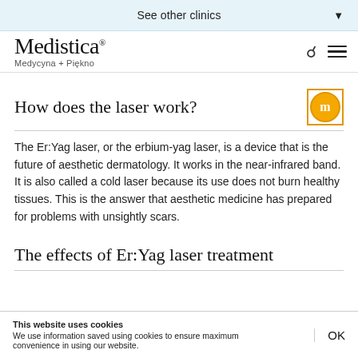See other clinics
[Figure (logo): Medistica logo with tagline Medycyna + Piękno and navigation icons (search, hamburger menu)]
How does the laser work?
The Er:Yag laser, or the erbium-yag laser, is a device that is the future of aesthetic dermatology. It works in the near-infrared band. It is also called a cold laser because its use does not burn healthy tissues. This is the answer that aesthetic medicine has prepared for problems with unsightly scars.
The effects of Er:Yag laser treatment
This website uses cookies
We use information saved using cookies to ensure maximum convenience in using our website.
OK